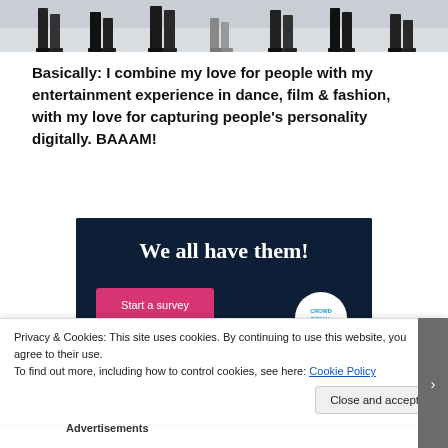[Figure (photo): Cropped photo showing the legs and feet of multiple people walking on a runway or dance floor, shot from a low angle. People are wearing dark shoes and trousers.]
Basically: I combine my love for people with my entertainment experience in dance, film & fashion, with my love for capturing people’s personality digitally. BAAAM!
[Figure (infographic): Dark navy banner advertisement with white bold text reading 'We all have them!' A pink/magenta button says 'Start a survey' and there is a circular white logo with 'CROWDSIGNAL' in teal text.]
Privacy & Cookies: This site uses cookies. By continuing to use this website, you agree to their use.
To find out more, including how to control cookies, see here: Cookie Policy
Close and accept
Advertisements